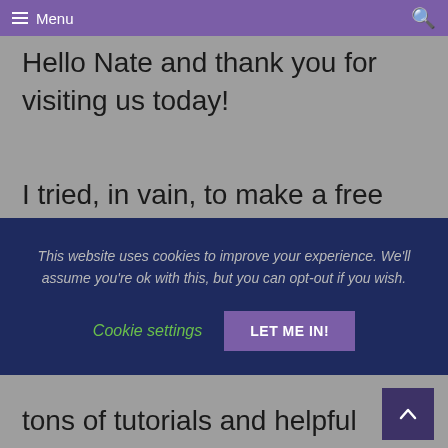Menu
Hello Nate and thank you for visiting us today!
I tried, in vain, to make a free website from Wix work for me
[Figure (screenshot): Cookie consent banner with dark navy background. Text reads: 'This website uses cookies to improve your experience. We'll assume you're ok with this, but you can opt-out if you wish.' Two buttons: 'Cookie settings' in green italic and 'LET ME IN!' in purple.]
tons of tutorials and helpful video and a great community of helpers. I love it!
Cheers,
-Irma 🤔